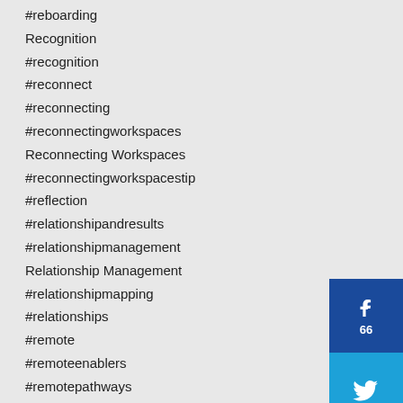#reboarding
Recognition
#recognition
#reconnect
#reconnecting
#reconnectingworkspaces
Reconnecting Workspaces
#reconnectingworkspacestip
#reflection
#relationshipandresults
#relationshipmanagement
Relationship Management
#relationshipmapping
#relationships
#remote
#remoteenablers
#remotepathways
Remote Pathways
#remotepathwayspodcast